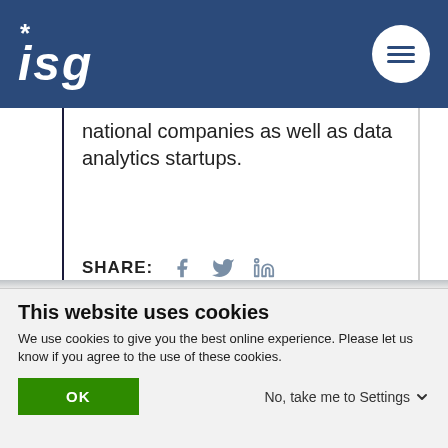ISG
national companies as well as data analytics startups.
SHARE:
This website uses cookies
We use cookies to give you the best online experience. Please let us know if you agree to the use of these cookies.
OK
No, take me to Settings